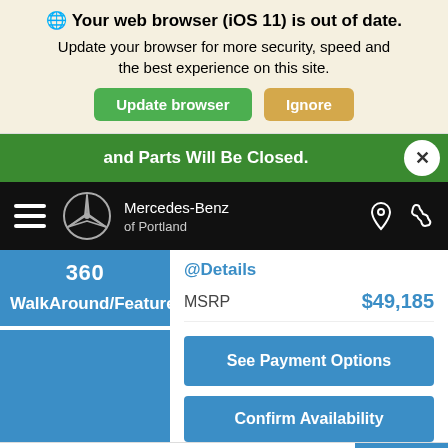Your web browser (iOS 11) is out of date. Update your browser for more security, speed and the best experience on this site.
Update browser | Ignore
and Parts Will Be Closed.
[Figure (screenshot): Mercedes-Benz of Portland navigation bar with hamburger menu, logo, and icons]
360
WalkAround/Features
@Details
MSRP
$49,185
See Payment Options
Confirm Availability
Search by year, make, model, feature...
Refine
Chat